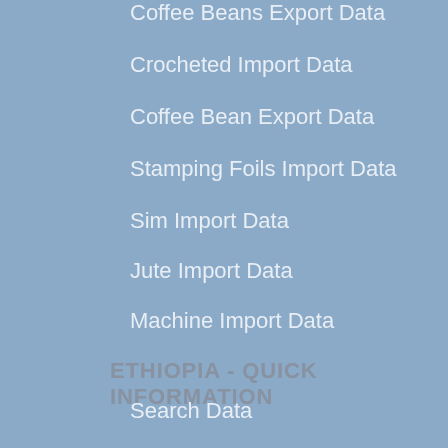Coffee Beans Export Data
Crocheted Import Data
Coffee Bean Export Data
Stamping Foils Import Data
Sim Import Data
Jute Import Data
Machine Import Data
ETHIOPIA - QUICK INFORMATION
Search Data
Pricing
Download Data Sample
Product Wise Import Data
Product Wise Export Data